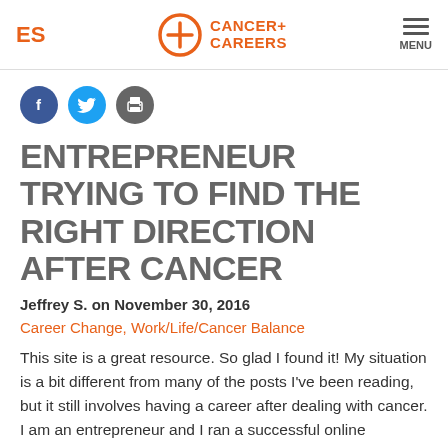ES | Cancer+ Careers | MENU
[Figure (logo): Cancer+ Careers logo with orange circle plus icon and text]
[Figure (infographic): Social sharing icons: Facebook (blue), Twitter (cyan), Print (gray)]
ENTREPRENEUR TRYING TO FIND THE RIGHT DIRECTION AFTER CANCER
Jeffrey S. on November 30, 2016
Career Change, Work/Life/Cancer Balance
This site is a great resource. So glad I found it! My situation is a bit different from many of the posts I've been reading, but it still involves having a career after dealing with cancer. I am an entrepreneur and I ran a successful online business for over a decade, but had to sell it to...